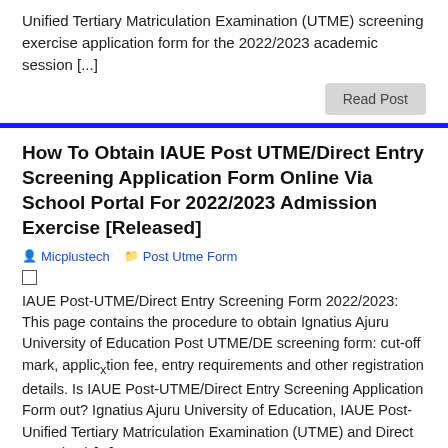Unified Tertiary Matriculation Examination (UTME) screening exercise application form for the 2022/2023 academic session [...]
Read Post
How To Obtain IAUE Post UTME/Direct Entry Screening Application Form Online Via School Portal For 2022/2023 Admission Exercise [Released]
Micplustech   Post Utme Form
IAUE Post-UTME/Direct Entry Screening Form 2022/2023: This page contains the procedure to obtain Ignatius Ajuru University of Education Post UTME/DE screening form: cut-off mark, application fee, entry requirements and other registration details. Is IAUE Post-UTME/Direct Entry Screening Application Form out? Ignatius Ajuru University of Education, IAUE Post-Unified Tertiary Matriculation Examination (UTME) and Direct Entry (DE) [...]